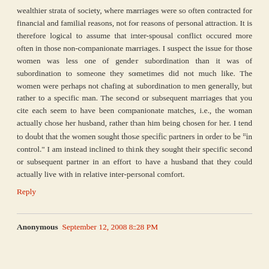wealthier strata of society, where marriages were so often contracted for financial and familial reasons, not for reasons of personal attraction. It is therefore logical to assume that inter-spousal conflict occured more often in those non-companionate marriages. I suspect the issue for those women was less one of gender subordination than it was of subordination to someone they sometimes did not much like. The women were perhaps not chafing at subordination to men generally, but rather to a specific man. The second or subsequent marriages that you cite each seem to have been companionate matches, i.e., the woman actually chose her husband, rather than him being chosen for her. I tend to doubt that the women sought those specific partners in order to be "in control." I am instead inclined to think they sought their specific second or subsequent partner in an effort to have a husband that they could actually live with in relative inter-personal comfort.
Reply
Anonymous September 12, 2008 8:28 PM